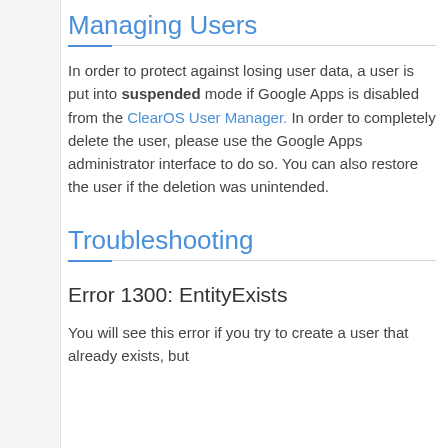Managing Users
In order to protect against losing user data, a user is put into suspended mode if Google Apps is disabled from the ClearOS User Manager. In order to completely delete the user, please use the Google Apps administrator interface to do so. You can also restore the user if the deletion was unintended.
Troubleshooting
Error 1300: EntityExists
You will see this error if you try to create a user that already exists, but